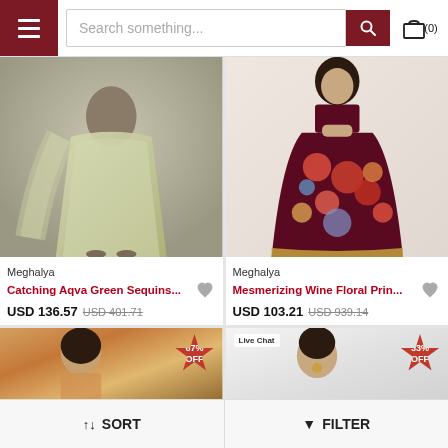[Figure (screenshot): E-commerce app header with hamburger menu, search bar, search button, and cart icon showing (0)]
[Figure (photo): Green sequin lehenga worn by model, light sage/aqua green color with dupatta]
Meghalya
Catching Aqva Green Sequins...
USD 136.57  USD 401.71
[Figure (photo): Wine floral print lehenga worn by model, dark maroon/wine base with colorful floral print]
Meghalya
Mesmerizing Wine Floral Prin...
USD 103.21  USD 939.14
[Figure (photo): Bottom left product image partially shown with 67% OFF badge]
[Figure (photo): Bottom right product image partially shown with Live Chat label and 33% OFF badge]
↑↓ SORT
▼ FILTER